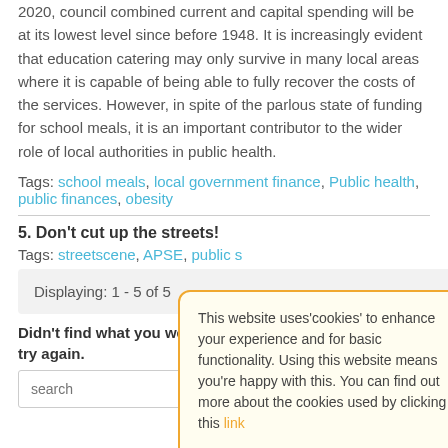2020, council combined current and capital spending will be at its lowest level since before 1948. It is increasingly evident that education catering may only survive in many local areas where it is capable of being able to fully recover the costs of the services. However, in spite of the parlous state of funding for school meals, it is an important contributor to the wider role of local authorities in public health.
Tags: school meals, local government finance, Public health, public finances, obesity
5. Don't cut up the streets!
Tags: streetscene, APSE, public ...
Displaying: 1 - 5 of 5
Didn't find what you were looking for? try again.
[Figure (screenshot): Cookie consent popup overlay with orange border, text about cookies, and an ok button]